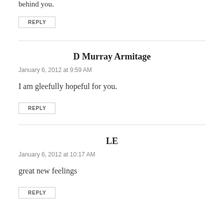behind you.
REPLY
D Murray Armitage
January 6, 2012 at 9:59 AM
I am gleefully hopeful for you.
REPLY
LE
January 6, 2012 at 10:17 AM
great new feelings
REPLY